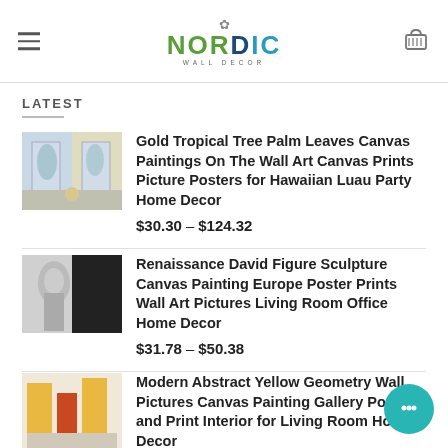NORDIC WALL DECOR
LATEST
Gold Tropical Tree Palm Leaves Canvas Paintings On The Wall Art Canvas Prints Picture Posters for Hawaiian Luau Party Home Decor — $30.30 – $124.32
Renaissance David Figure Sculpture Canvas Painting Europe Poster Prints Wall Art Pictures Living Room Office Home Decor — $31.78 – $50.38
Modern Abstract Yellow Geometry Wall Pictures Canvas Painting Gallery Poster and Print Interior for Living Room Home Decor